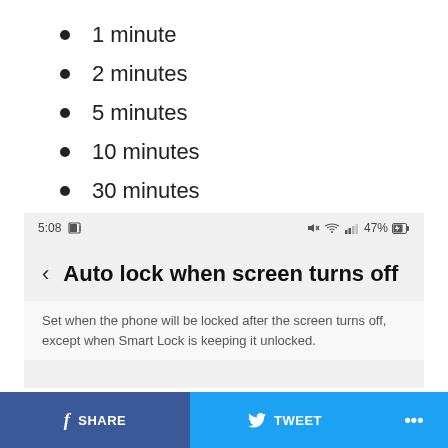1 minute
2 minutes
5 minutes
10 minutes
30 minutes
[Figure (screenshot): Android phone screenshot showing 'Auto lock when screen turns off' settings screen with status bar showing 5:08 and 47% battery. Subtitle: Set when the phone will be locked after the screen turns off, except when Smart Lock is keeping it unlocked.]
SHARE
TWEET
...